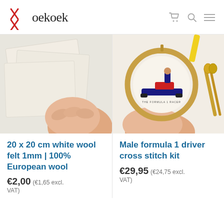Koekoek
[Figure (photo): White wool felt sheets held by a hand against a light background]
20 x 20 cm white wool felt 1mm | 100% European wool
€2,00 (€1,65 excl. VAT)
[Figure (photo): Cross stitch embroidery hoop showing a Formula 1 driver and car, with scissors and yellow thread on white background]
Male formula 1 driver cross stitch kit
€29,95 (€24,75 excl. VAT)